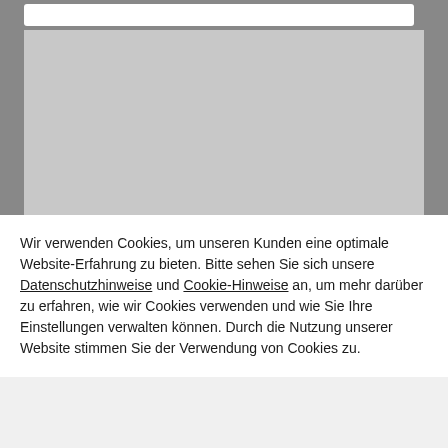[Figure (screenshot): Map area placeholder — grey background representing a map view]
Wir verwenden Cookies, um unseren Kunden eine optimale Website-Erfahrung zu bieten. Bitte sehen Sie sich unsere Datenschutzhinweise und Cookie-Hinweise an, um mehr darüber zu erfahren, wie wir Cookies verwenden und wie Sie Ihre Einstellungen verwalten können. Durch die Nutzung unserer Website stimmen Sie der Verwendung von Cookies zu.
Weiter
Beenden
Datenschutzerklärung